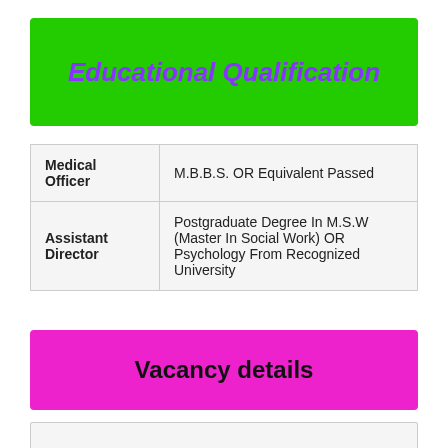Educational Qualification
| Position | Qualification |
| --- | --- |
| Medical Officer | M.B.B.S. OR Equivalent Passed |
| Assistant Director | Postgraduate Degree In M.S.W (Master In Social Work) OR Psychology From Recognized University |
Vacancy details